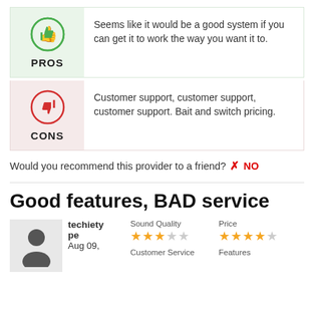Seems like it would be a good system if you can get it to work the way you want it to.
Customer support, customer support, customer support. Bait and switch pricing.
Would you recommend this provider to a friend?  NO
Good features, BAD service
techiety pe  Aug 09,
Sound Quality  ★★★☆☆
Price  ★★★★☆
Customer Service
Features